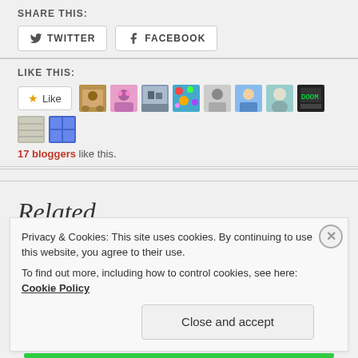SHARE THIS:
TWITTER | FACEBOOK
LIKE THIS:
17 bloggers like this.
Related
Privacy & Cookies: This site uses cookies. By continuing to use this website, you agree to their use. To find out more, including how to control cookies, see here: Cookie Policy
Close and accept